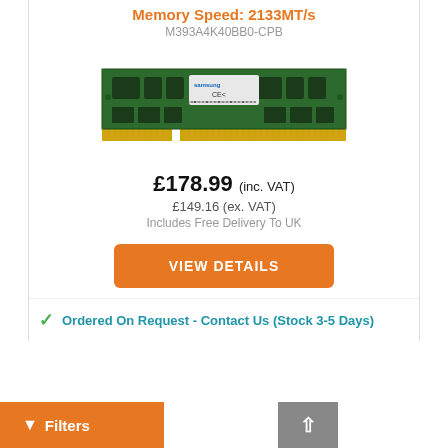Memory Speed: 2133MT/s
M393A4K40BB0-CPB
[Figure (photo): Samsung DDR4 RDIMM server memory module (green PCB with gold edge connector), model M393A4K40BB0-CPB]
£178.99 (inc. VAT)
£149.16 (ex. VAT)
Includes Free Delivery To UK
VIEW DETAILS
Ordered On Request - Contact Us (Stock 3-5 Days)
Filters